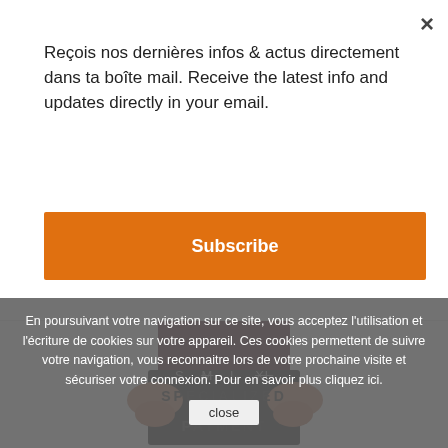×
Reçois nos dernières infos & actus directement dans ta boîte mail. Receive the latest info and updates directly in your email.
Subscribe
[Figure (photo): Partial view of a person wearing a dark cycling jersey and black cycling shorts, hands on hips, cropped at torso level]
S  M  L  XL
SPECIALIZED
En poursuivant votre navigation sur ce site, vous acceptez l'utilisation et l'écriture de cookies sur votre appareil. Ces cookies permettent de suivre votre navigation, vous reconnaitre lors de votre prochaine visite et sécuriser votre connexion. Pour en savoir plus cliquez ici.
close
PAYMENT